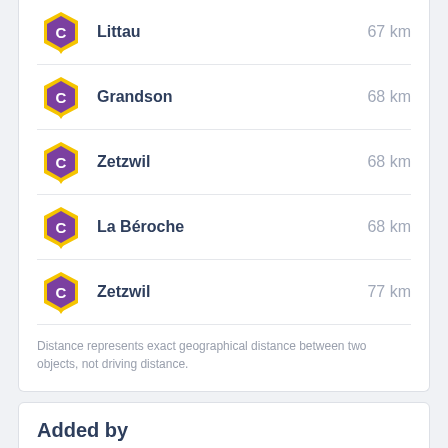Littau – 67 km
Grandson – 68 km
Zetzwil – 68 km
La Béroche – 68 km
Zetzwil – 77 km
Distance represents exact geographical distance between two objects, not driving distance.
Added by
World Of BMX 22.06.2014